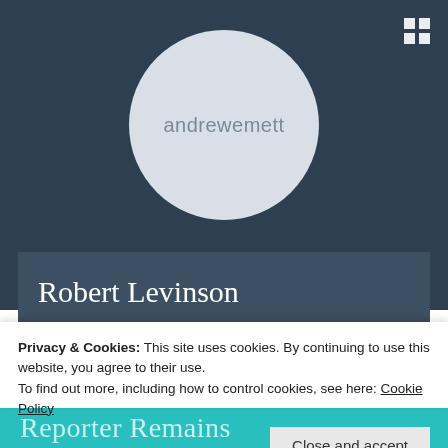[Figure (screenshot): Website screenshot showing a dark blue background with a circular avatar placeholder containing the text 'andrewemett', a grid/menu icon in the top right corner, and a card panel with the title 'Robert Levinson'. A cookie consent overlay is displayed with text about privacy and cookies, a link to Cookie Policy, and a 'Close and accept' button. At the bottom is a teal strip with partial text 'Reporter Remains'.]
andrewemett
Robert Levinson
Privacy & Cookies: This site uses cookies. By continuing to use this website, you agree to their use.
To find out more, including how to control cookies, see here: Cookie Policy
Close and accept
Reporter Remains